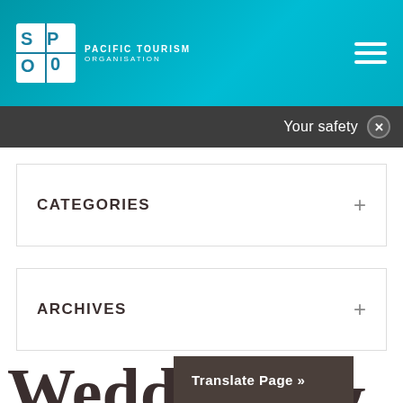[Figure (screenshot): Pacific Tourism Organisation logo with teal/cyan header background and hamburger menu icon]
Your safety ×
CATEGORIES +
ARCHIVES +
Weddings & Honeymoo
Translate Page »